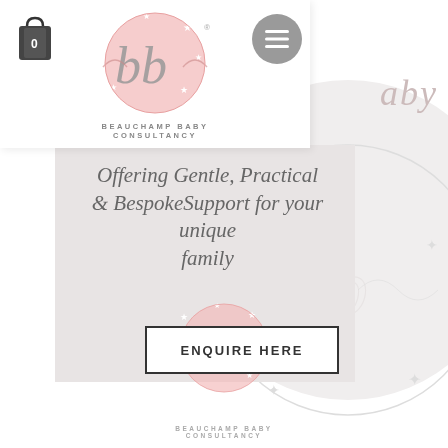[Figure (screenshot): Website screenshot of Beauchamp Baby Consultancy showing logo, navigation, tagline and enquire button]
Offering Gentle, Practical & Bespoke Support for your unique family
ENQUIRE HERE